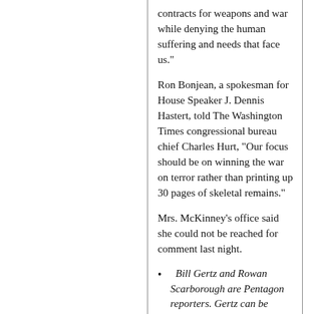contracts for weapons and war while denying the human suffering and needs that face us."
Ron Bonjean, a spokesman for House Speaker J. Dennis Hastert, told The Washington Times congressional bureau chief Charles Hurt, "Our focus should be on winning the war on terror rather than printing up 30 pages of skeletal remains."
Mrs. McKinney’s office said she could not be reached for comment last night.
Bill Gertz and Rowan Scarborough are Pentagon reporters. Gertz can be reached at 202/636-3274 or by e-mail at bgertz@washingtontimes.com. Scarborough can be reached at